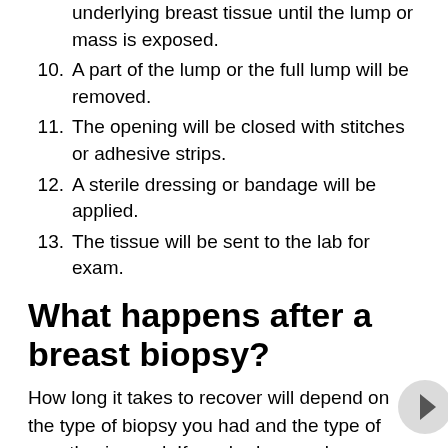underlying breast tissue until the lump or mass is exposed.
10. A part of the lump or the full lump will be removed.
11. The opening will be closed with stitches or adhesive strips.
12. A sterile dressing or bandage will be applied.
13. The tissue will be sent to the lab for exam.
What happens after a breast biopsy?
How long it takes to recover will depend on the type of biopsy you had and the type of anesthesia used. If you had general anesthesia, you will be taken to the recovery room, where you will be watched closely. Once your blood pressure, pulse, and breathing are